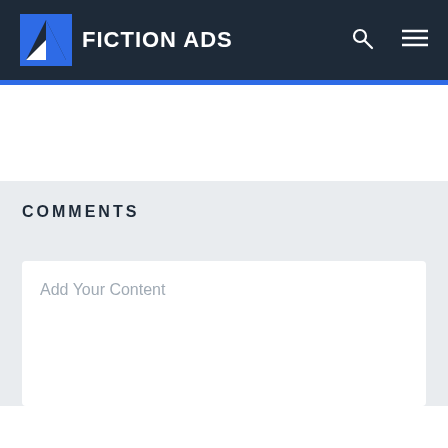FICTION ADS
COMMENTS
Add Your Content